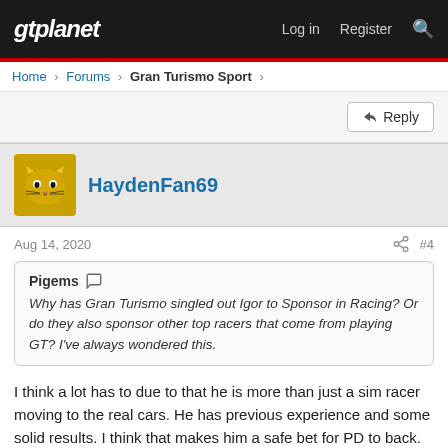gtplanet — Log in  Register
Home > Forums > Gran Turismo Sport >
Reply
HaydenFan69
Aug 14, 2020  #4
Pigems
Why has Gran Turismo singled out Igor to Sponsor in Racing? Or do they also sponsor other top racers that come from playing GT? I've always wondered this.
I think a lot has to due to that he is more than just a sim racer moving to the real cars. He has previous experience and some solid results. I think that makes him a safe bet for PD to back.